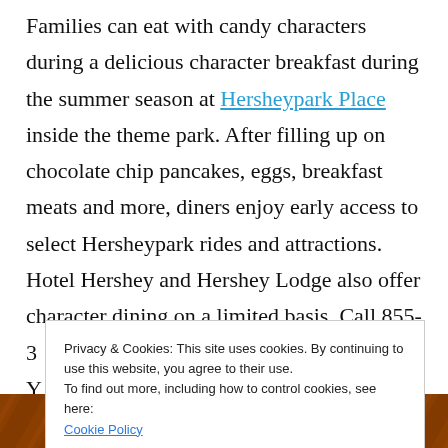Families can eat with candy characters during a delicious character breakfast during the summer season at Hersheypark Place inside the theme park. After filling up on chocolate chip pancakes, eggs, breakfast meats and more, diners enjoy early access to select Hersheypark rides and attractions. Hotel Hershey and Hershey Lodge also offer character dining on a limited basis. Call 855-3... Y... w...
Privacy & Cookies: This site uses cookies. By continuing to use this website, you agree to their use. To find out more, including how to control cookies, see here: Cookie Policy [Close and accept]
[Figure (photo): Partial view of a decorative food/dining image at the bottom of the page, showing warm brown and orange tones with ornate styling.]